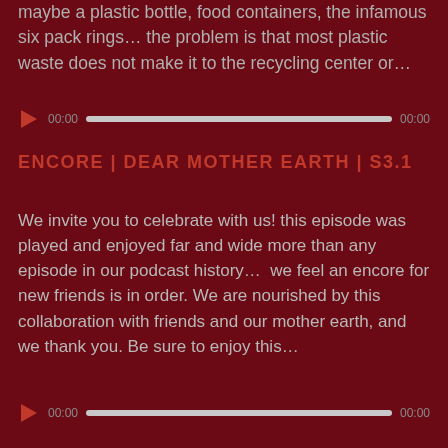maybe a plastic bottle, food containers, the infamous six pack rings… the problem is that most plastic waste does not make it to the recycling center or…
[Figure (other): Audio player bar with play button, timestamp 00:00, progress bar, and end time 00:00]
ENCORE | DEAR MOTHER EARTH | S3.1
We invite you to celebrate with us! this episode was played and enjoyed far and wide more than any episode in our podcast history…  we feel an encore for new friends is in order. We are nourished by this collaboration with friends and our mother earth, and we thank you. Be sure to enjoy this…
[Figure (other): Audio player bar with play button, timestamp 00:00, progress bar, and end time 00:00]